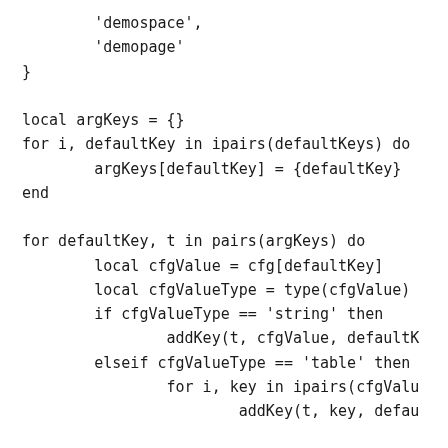'demospace',
        'demopage'
}

local argKeys = {}
for i, defaultKey in ipairs(defaultKeys) do
        argKeys[defaultKey] = {defaultKey}
end

for defaultKey, t in pairs(argKeys) do
        local cfgValue = cfg[defaultKey]
        local cfgValueType = type(cfgValue)
        if cfgValueType == 'string' then
                addKey(t, cfgValue, defaultK
        elseif cfgValueType == 'table' then
                for i, key in ipairs(cfgValu
                        addKey(t, key, defau

                end